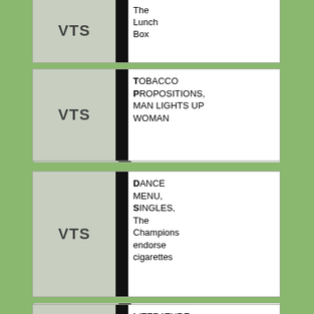[Figure (infographic): A series of catalog/index cards on a green background. Each card shows 'VTS' on the left gray box, a black vertical bar, and a white text box with a title. Cards visible: 'The Lunch Box' (partial top), 'TOBACCO PROPOSITIONS, MAN LIGHTS UP WOMAN', 'DANCE MENU, SINGLES, The Champions endorse cigarettes', 'LITERATURE, MARK TWAIN', 'MEMORY, ASPECTS OF, IN ADVERTISING', and a partial card at the bottom.]